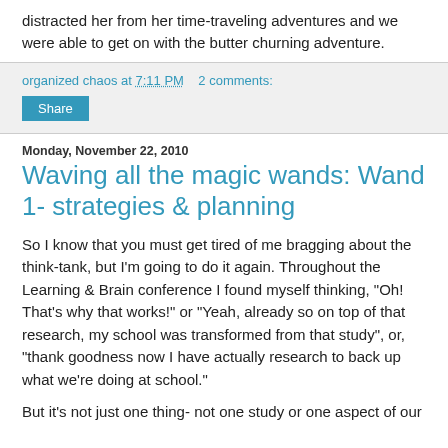distracted her from her time-traveling adventures and we were able to get on with the butter churning adventure.
organized chaos at 7:11 PM   2 comments:
Share
Monday, November 22, 2010
Waving all the magic wands: Wand 1- strategies & planning
So I know that you must get tired of me bragging about the think-tank, but I'm going to do it again. Throughout the Learning & Brain conference I found myself thinking, "Oh! That's why that works!" or "Yeah, already so on top of that research, my school was transformed from that study", or, "thank goodness now I have actually research to back up what we're doing at school."
But it's not just one thing- not one study or one aspect of our